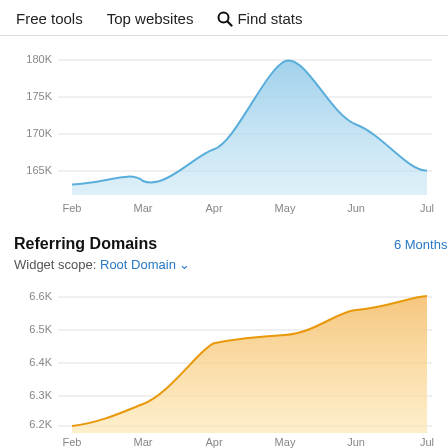Free tools   Top websites   🔍 Find stats
[Figure (area-chart): ]
Referring Domains
6 Months ▾
Widget scope: Root Domain ▾
[Figure (area-chart): ]